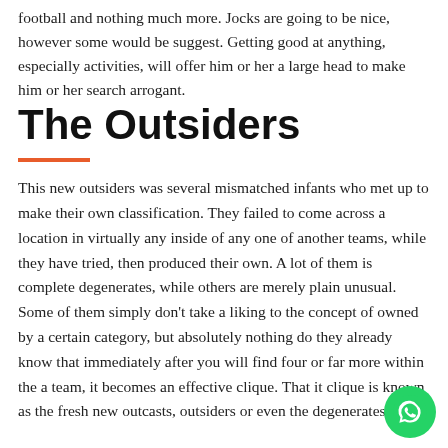football and nothing much more. Jocks are going to be nice, however some would be suggest. Getting good at anything, especially activities, will offer him or her a large head to make him or her search arrogant.
The Outsiders
This new outsiders was several mismatched infants who met up to make their own classification. They failed to come across a location in virtually any inside of any one of another teams, while they have tried, then produced their own. A lot of them is complete degenerates, while others are merely plain unusual. Some of them simply don't take a liking to the concept of owned by a certain category, but absolutely nothing do they already know that immediately after you will find four or far more within the a team, it becomes an effective clique. That it clique is known as the fresh new outcasts, outsiders or even the degenerates.